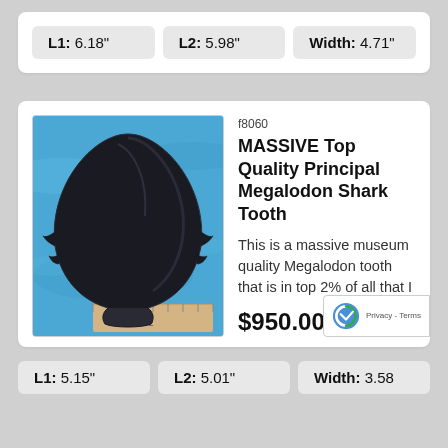| L1 | L2 | Width |
| --- | --- | --- |
| 6.18" | 5.98" | 4.71" |
[Figure (photo): Large dark black Megalodon shark tooth fossil displayed on a blue background with a ruler for scale]
f8060
MASSIVE Top Quality Principal Megalodon Shark Tooth
This is a massive museum quality Megalodon tooth that is in top 2% of all that I
$950.00
| L1 | L2 | Width |
| --- | --- | --- |
| 5.15" | 5.01" | 3.58 |